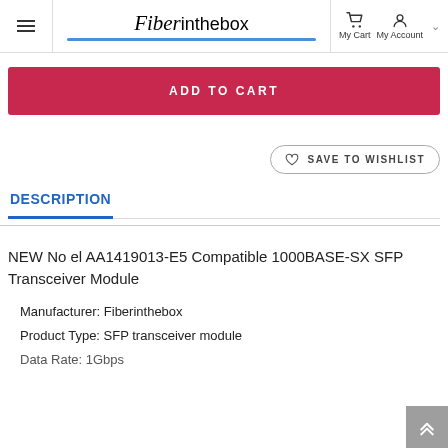Fiberinthebox — My Cart, My Account
ADD TO CART
SAVE TO WISHLIST
DESCRIPTION
NEW No el AA1419013-E5 Compatible 1000BASE-SX SFP Transceiver Module
Manufacturer: Fiberinthebox
Product Type: SFP transceiver module
Data Rate: 1Gbps